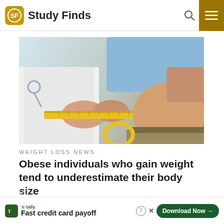Study Finds
[Figure (photo): A doctor in a white lab coat measuring the waist of an obese person with a yellow tape measure]
WEIGHT LOSS NEWS
Obese individuals who gain weight tend to underestimate their body size
[Figure (other): Advertisement banner: Tally - Fast credit card payoff with Download Now button]